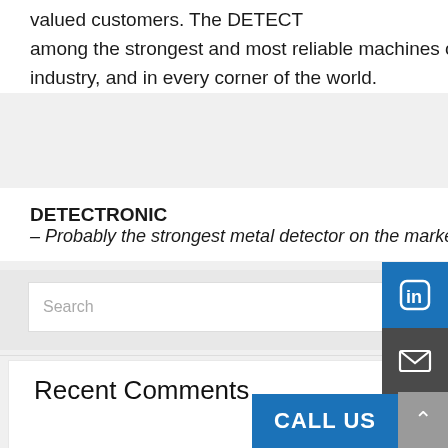valued customers. The DETECT among the strongest and most reliable machines on the market. They are built to survive in every industry, and in every corner of the world.
[Figure (screenshot): Language selector dropdown showing UK flag and 'English' with a chevron/dropdown arrow]
DETECTRONIC
– Probably the strongest metal detector on the market
[Figure (screenshot): Social media sidebar with LinkedIn, email/envelope, and Facebook icons on blue/dark background]
[Figure (screenshot): Search input field with placeholder text 'Search' and a magnifying glass icon]
Recent Comments
Archives
[Figure (screenshot): Blue 'CALL US' button and grey scroll-to-top arrow button at bottom right]